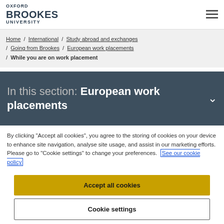OXFORD BROOKES UNIVERSITY
Home / International / Study abroad and exchanges / Going from Brookes / European work placements / While you are on work placement
In this section: European work placements
By clicking "Accept all cookies", you agree to the storing of cookies on your device to enhance site navigation, analyse site usage, and assist in our marketing efforts. Please go to "Cookie settings" to change your preferences. See our cookie policy
Accept all cookies
Cookie settings